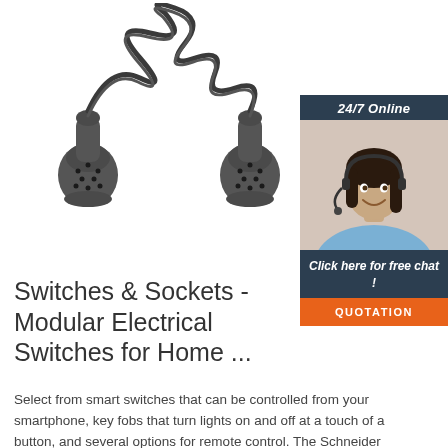[Figure (photo): Photo of a coiled electrical cable with two 13-pin round connectors (trailer/caravan style plugs) at each end, on a white background.]
[Figure (photo): 24/7 online chat widget showing a smiling female customer service agent wearing a headset, with a dark navy background. Text reads '24/7 Online', 'Click here for free chat!', and an orange 'QUOTATION' button.]
Switches & Sockets - Modular Electrical Switches for Home ...
Select from smart switches that can be controlled from your smartphone, key fobs that turn lights on and off at a touch of a button, and several options for remote control. The Schneider Electric